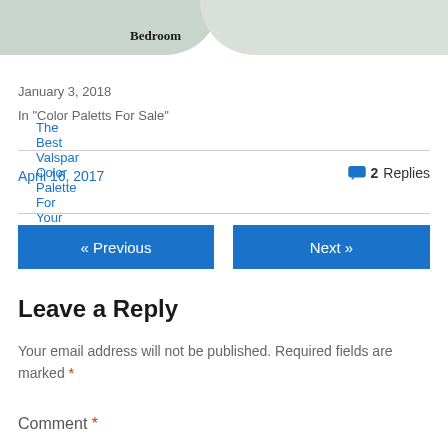[Figure (illustration): Partial bedroom image with sage green circular background shape and 'Bedroom' text partially visible at top]
The Best Valspar Color Palette For Your Home
January 3, 2018
In "Color Paletts For Sale"
April 16, 2017
2 Replies
« Previous
Next »
Leave a Reply
Your email address will not be published. Required fields are marked *
Comment *